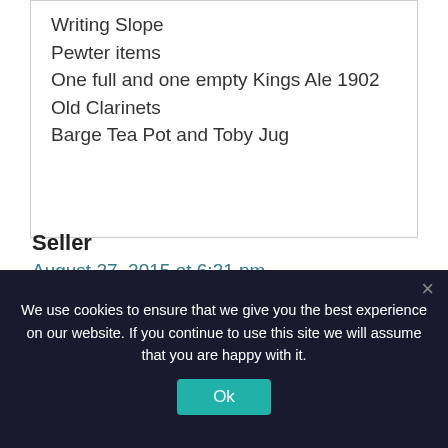Writing Slope
Pewter items
One full and one empty Kings Ale 1902
Old Clarinets
Barge Tea Pot and Toby Jug
Seller
August 27, 2015 at 6:21 pm
We use cookies to ensure that we give you the best experience on our website. If you continue to use this site we will assume that you are happy with it.